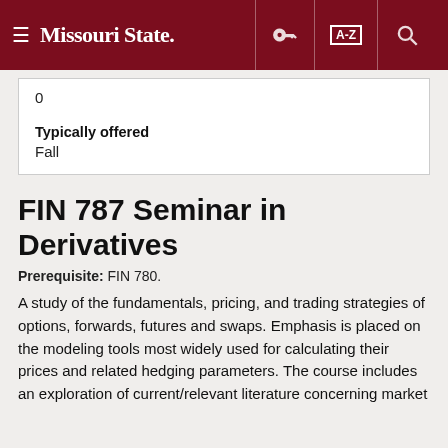Missouri State
| 0 |
| Typically offered | Fall |
FIN 787 Seminar in Derivatives
Prerequisite: FIN 780.
A study of the fundamentals, pricing, and trading strategies of options, forwards, futures and swaps. Emphasis is placed on the modeling tools most widely used for calculating their prices and related hedging parameters. The course includes an exploration of current/relevant literature concerning market